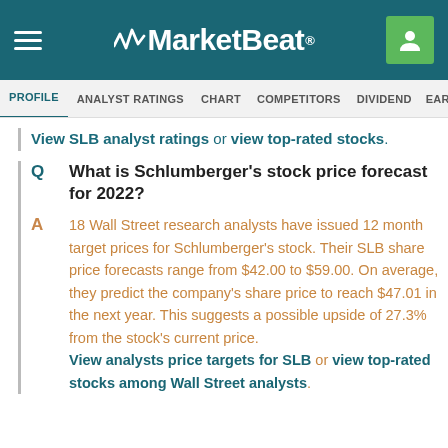MarketBeat
PROFILE | ANALYST RATINGS | CHART | COMPETITORS | DIVIDEND | EARNINGS
View SLB analyst ratings or view top-rated stocks.
Q  What is Schlumberger's stock price forecast for 2022?
A  18 Wall Street research analysts have issued 12 month target prices for Schlumberger's stock. Their SLB share price forecasts range from $42.00 to $59.00. On average, they predict the company's share price to reach $47.01 in the next year. This suggests a possible upside of 27.3% from the stock's current price. View analysts price targets for SLB or view top-rated stocks among Wall Street analysts.